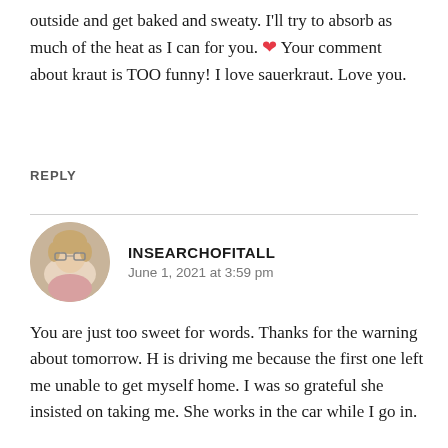outside and get baked and sweaty. I'll try to absorb as much of the heat as I can for you. ❤ Your comment about kraut is TOO funny! I love sauerkraut. Love you.
REPLY
INSEARCHOFITALL
June 1, 2021 at 3:59 pm
You are just too sweet for words. Thanks for the warning about tomorrow. H is driving me because the first one left me unable to get myself home. I was so grateful she insisted on taking me. She works in the car while I go in.